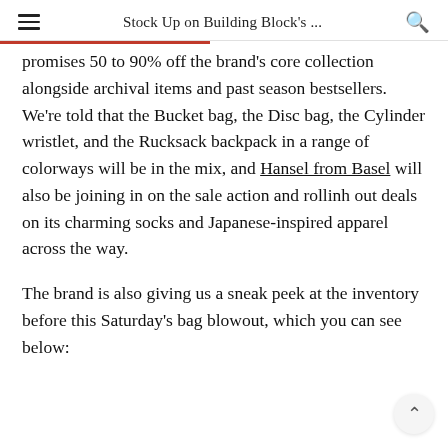Stock Up on Building Block's ...
promises 50 to 90% off the brand's core collection alongside archival items and past season bestsellers. We're told that the Bucket bag, the Disc bag, the Cylinder wristlet, and the Rucksack backpack in a range of colorways will be in the mix, and Hansel from Basel will also be joining in on the sale action and rollinh out deals on its charming socks and Japanese-inspired apparel across the way.
The brand is also giving us a sneak peek at the inventory before this Saturday's bag blowout, which you can see below: